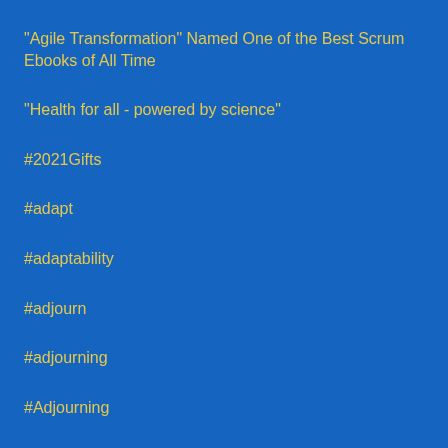"Agile Transformation" Named One of the Best Scrum Ebooks of All Time
"Health for all - powered by science"
#2021Gifts
#adapt
#adaptability
#adjourn
#adjourning
#Adjourning
#Afscheidsfase